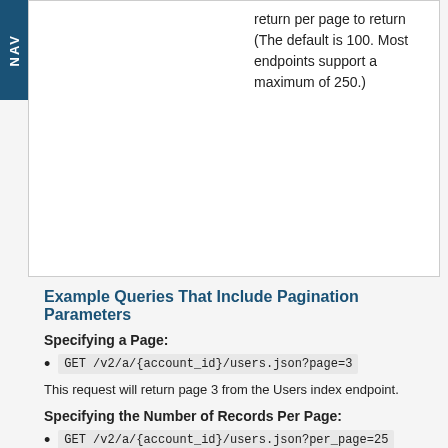| return per page to return (The default is 100. Most endpoints support a maximum of 250.) |
Example Queries That Include Pagination Parameters
Specifying a Page:
GET /v2/a/{account_id}/users.json?page=3
This request will return page 3 from the Users index endpoint.
Specifying the Number of Records Per Page:
GET /v2/a/{account_id}/users.json?per_page=25
This request will return 25 objects per page from the Users index